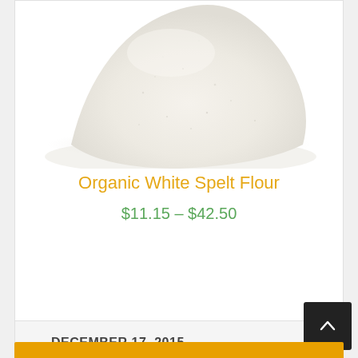[Figure (photo): Heap of organic white spelt flour, pale cream-white color, photographed from above on white background]
Organic White Spelt Flour
$11.15 – $42.50
Select options
DECEMBER 17, 2015